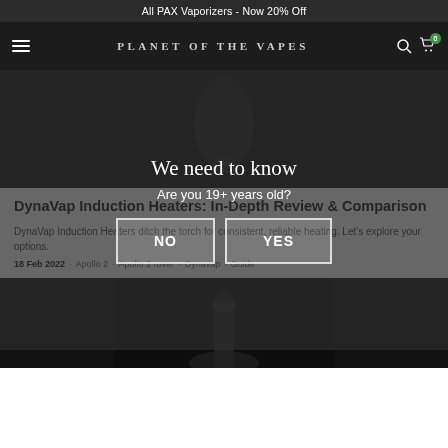All PAX Vaporizers - Now 20% Off
[Figure (screenshot): Planet of the Vapes navigation bar with hamburger menu, logo, search icon, and cart icon showing 0 items]
[Figure (photo): Dark hero image showing a vaporizer device]
[Figure (infographic): Age verification modal overlay with title 'We need to know', subtitle 'Are you 19+ years old?', and NO/YES buttons]
DynaVap Induction Heaters: In-Depth Review & Comparison
DynaVap Induction Heaters ditch the torch for consistent, reliable heating. Let's explore your options.
18 Feb 2022  ·  Apollo 2  ·  Apollo 2 rover  ·  Dynavap  ·  Guide
[Figure (photo): Dark bottom image showing a DynaVap device at the bottom of the page]